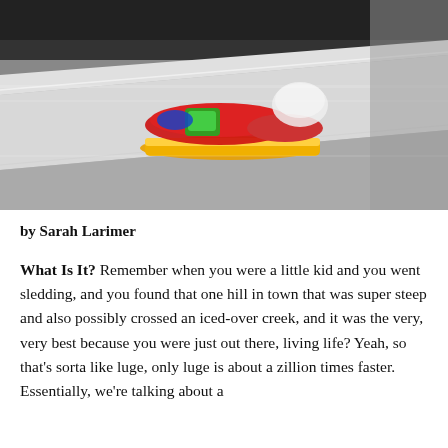[Figure (photo): Action photo of a luge athlete in red suit lying on a yellow sled, racing down an icy track at high speed, with motion blur visible. The track appears to be an indoor/covered luge run.]
by Sarah Larimer
What Is It? Remember when you were a little kid and you went sledding, and you found that one hill in town that was super steep and also possibly crossed an iced-over creek, and it was the very, very best because you were just out there, living life? Yeah, so that's sorta like luge, only luge is about a zillion times faster. Essentially, we're talking about a